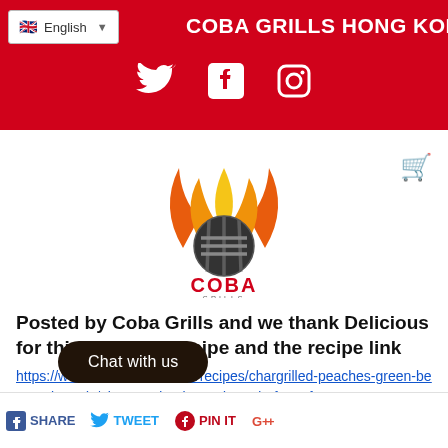COBA GRILLS HONG KONG
[Figure (logo): Coba Grills logo with flame and grill mark design in orange and red]
Posted by Coba Grills and we thank Delicious for this delicious recipe and the recipe link https://www.delicious.com.au/recipes/chargrilled-peaches-green-beans-almonds/2b60ea2d-6ab9-44d9-8cd6-f2eaafa36601?current_section=recipes&r=recipes/collections/tx3ckwv6
Chat with us
SHARE  TWEET  PIN IT  +1